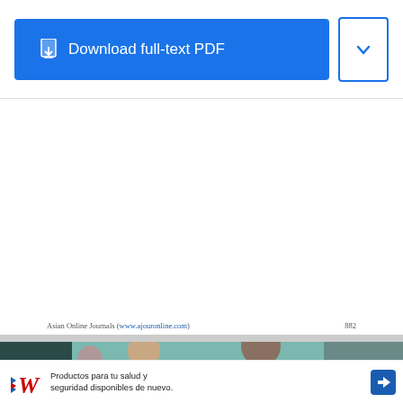[Figure (screenshot): Download full-text PDF button (blue) and dropdown chevron button (white with blue border) in a UI toolbar]
Asian Online Journals (www.ajouronline.com)                                                   882
[Figure (photo): Advertisement image showing scientists in a lab with overlay text: TOP THREE WAYS SOCIAL PROOF CAN BOOST YOUR ORGANIC REACH AND ENGAGEMENT]
[Figure (infographic): Walgreens advertisement: Productos para tu salud y seguridad disponibles de nuevo.]